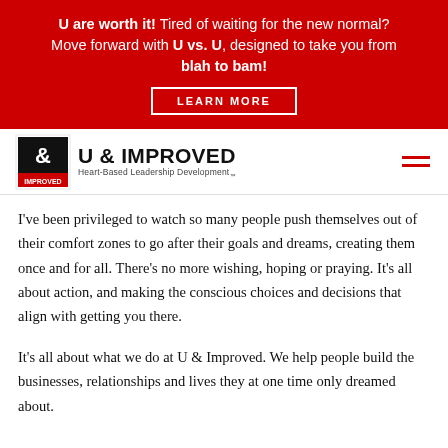U are worth it! Tired of waiting for the new normal? Move forward with U vs. U, designed to take you from blah to bam!
LEARN MORE
[Figure (logo): U & Improved logo with Heart-Based Leadership Development tagline]
I've been privileged to watch so many people push themselves out of their comfort zones to go after their goals and dreams, creating them once and for all. There's no more wishing, hoping or praying. It's all about action, and making the conscious choices and decisions that align with getting you there.
It's all about what we do at U & Improved. We help people build the businesses, relationships and lives they at one time only dreamed about.